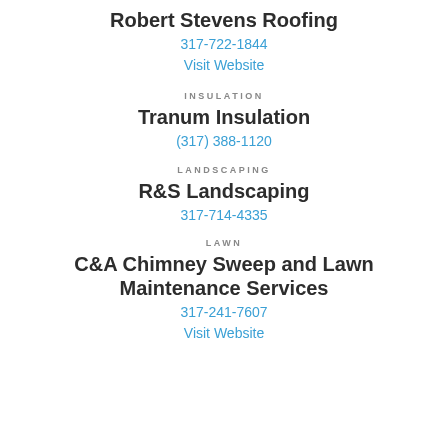Robert Stevens Roofing
317-722-1844
Visit Website
INSULATION
Tranum Insulation
(317) 388-1120
LANDSCAPING
R&S Landscaping
317-714-4335
LAWN
C&A Chimney Sweep and Lawn Maintenance Services
317-241-7607
Visit Website